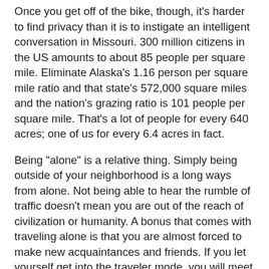Once you get off of the bike, though, it's harder to find privacy than it is to instigate an intelligent conversation in Missouri. 300 million citizens in the US amounts to about 85 people per square mile. Eliminate Alaska's 1.16 person per square mile ratio and that state's 572,000 square miles and the nation's grazing ratio is 101 people per square mile. That's a lot of people for every 640 acres; one of us for every 6.4 acres in fact.
Being "alone" is a relative thing. Simply being outside of your neighborhood is a long ways from alone. Not being able to hear the rumble of traffic doesn't mean you are out of the reach of civilization or humanity. A bonus that comes with traveling alone is that you are almost forced to make new acquaintances and friends. If you let yourself get into the traveler mode, you will meet people you'd have never known about if you had stayed home.
Being alone is probably scary. I wouldn't know, I've only been to places where I'm surrounded by other people; as few as 1.16 of them per mile2 in Alaska and as dense as more than 500 per square mile in the eastern states and way more than